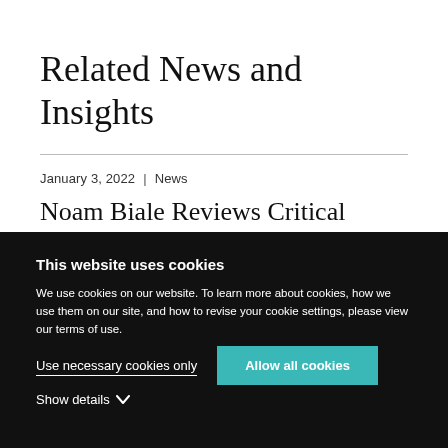Related News and Insights
January 3, 2022  |  News
Noam Biale Reviews Critical Habeas Corpus Cases for Scotusblog
This website uses cookies
We use cookies on our website. To learn more about cookies, how we use them on our site, and how to revise your cookie settings, please view our terms of use.
Use necessary cookies only
Allow all cookies
Show details